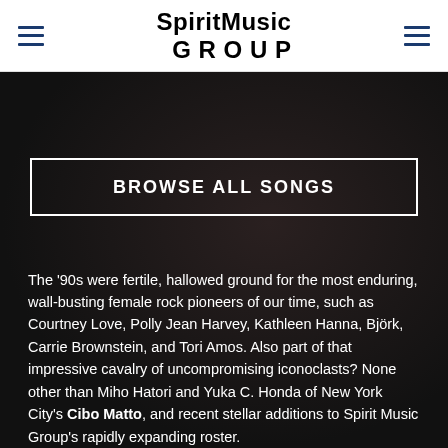Spirit Music Group
BROWSE ALL SONGS
The '90s were fertile, hallowed ground for the most enduring, wall-busting female rock pioneers of our time, such as Courtney Love, Polly Jean Harvey, Kathleen Hanna, Björk, Carrie Brownstein, and Tori Amos. Also part of that impressive cavalry of uncompromising iconoclasts? None other than Miho Hatori and Yuka C. Honda of New York City's Cibo Matto, and recent stellar additions to Spirit Music Group's rapidly expanding roster.
As a result of the deal, Spirit's tireless creative team will supply synch-exploit services for the band's newly released album, 'Hotel Valentine' (Chimera), and will also provide worldwide admin services for the back catalog. The new partnership between a beloved and innovative band such as Cibo Matto and Spirit is a true inspiration in the...